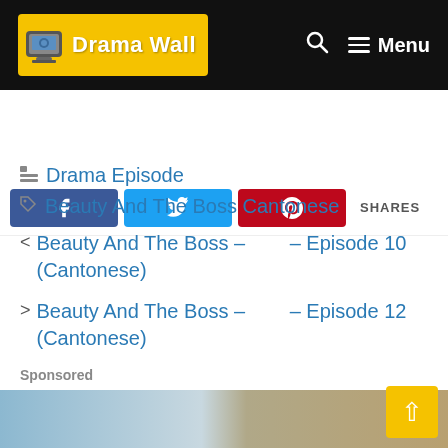Drama Wall — Menu
[Figure (screenshot): Social share buttons: Facebook, Twitter, Pinterest, and SHARES label]
Drama Episode
Beauty And The Boss Cantonese
< Beauty And The Boss – – Episode 10 (Cantonese)
> Beauty And The Boss – – Episode 12 (Cantonese)
Sponsored
Ads by Tra…
[Figure (photo): Partial image of advertisement at bottom of page]